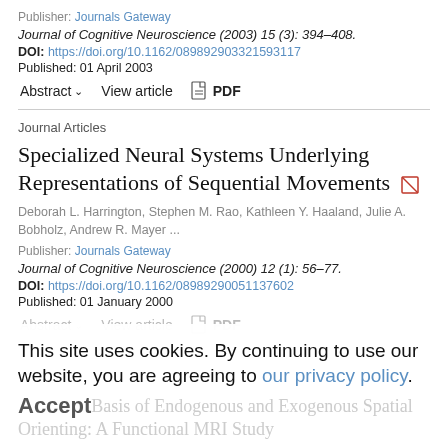Publisher: Journals Gateway
Journal of Cognitive Neuroscience (2003) 15 (3): 394–408.
DOI: https://doi.org/10.1162/089892903321593117
Published: 01 April 2003
Abstract ∨   View article   📄 PDF
Journal Articles
Specialized Neural Systems Underlying Representations of Sequential Movements
Deborah L. Harrington, Stephen M. Rao, Kathleen Y. Haaland, Julie A. Bobholz, Andrew R. Mayer ...
Publisher: Journals Gateway
Journal of Cognitive Neuroscience (2000) 12 (1): 56–77.
DOI: https://doi.org/10.1162/08989290051137602
Published: 01 January 2000
Abstract ∨   View article   📄 PDF
This site uses cookies. By continuing to use our website, you are agreeing to our privacy policy.
Accept
Journal Articles
Basis of Endogenous and Exogenous Spatial Orienting: A Functional MRI Study